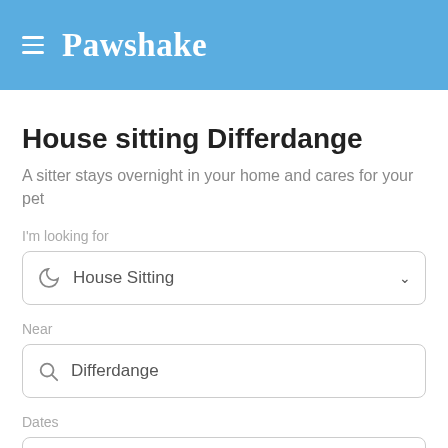Pawshake
House sitting Differdange
A sitter stays overnight in your home and cares for your pet
I'm looking for
House Sitting
Near
Differdange
Dates
Start date — End date